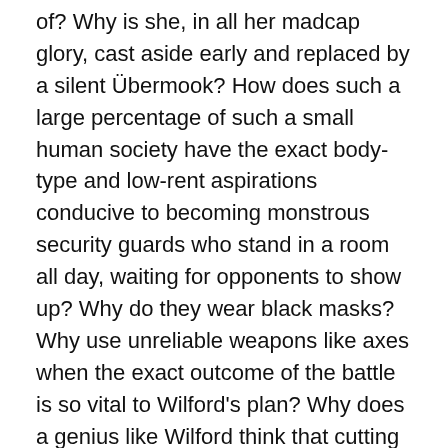of?  Why is she, in all her madcap glory, cast aside early and replaced by a silent Übermook?  How does such a large percentage of such a small human society have the exact body-type and low-rent aspirations conducive to becoming monstrous security guards who stand in a room all day, waiting for opponents to show up?  Why do they wear black masks?  Why use unreliable weapons like axes when the exact outcome of the battle is so vital to Wilford's plan?  Why does a genius like Wilford think that cutting down an already-reproductively-insignificant population by 70% will ensure the survival of the human race?  Why keep the tail-section people in filth, poverty, and boredom, without even giving them the option to work jobs or somehow contribute, and then blame them for being useless?  Why keep them alive at all if you only want them for their children, when the people in the front